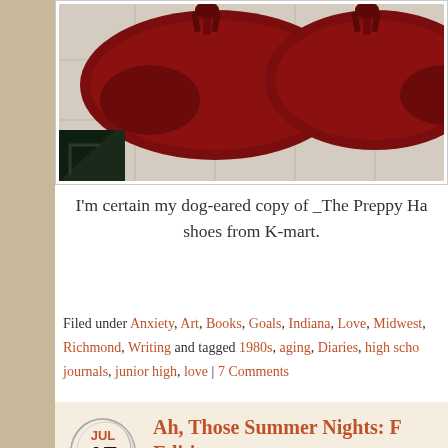[Figure (photo): Close-up photo of dark red/burgundy tassel loafer shoes on a light tiled floor, with a dark corner piece visible at bottom left. Photo has a white border/frame.]
I'm certain my dog-eared copy of _The Preppy Ha shoes from K-mart.
Filed under Anxiety, Art, Books, Goals, Indiana, Love, Midwest, Richmond, Writing and tagged 1980s, aging, Diaries, high school, journals, junior high, love | 7 Comments
Ah, Those Summer Nights: F Edition